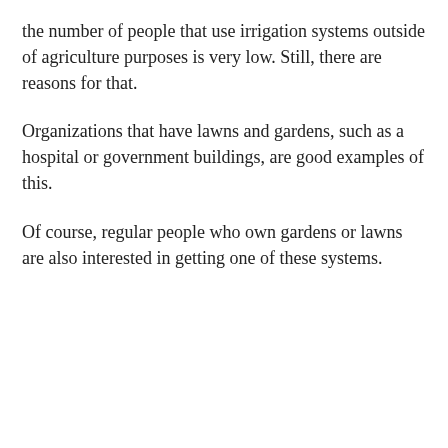the number of people that use irrigation systems outside of agriculture purposes is very low. Still, there are reasons for that.
Organizations that have lawns and gardens, such as a hospital or government buildings, are good examples of this.
Of course, regular people who own gardens or lawns are also interested in getting one of these systems.